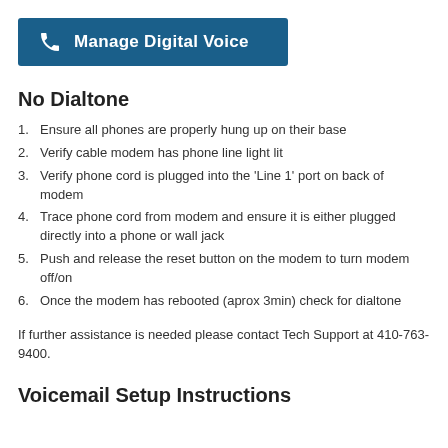Manage Digital Voice
No Dialtone
Ensure all phones are properly hung up on their base
Verify cable modem has phone line light lit
Verify phone cord is plugged into the ‘Line 1’ port on back of modem
Trace phone cord from modem and ensure it is either plugged directly into a phone or wall jack
Push and release the reset button on the modem to turn modem off/on
Once the modem has rebooted (aprox 3min) check for dialtone
If further assistance is needed please contact Tech Support at 410-763-9400.
Voicemail Setup Instructions